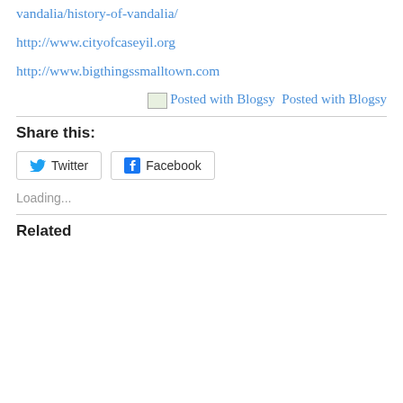vandalia/history-of-vandalia/
http://www.cityofcaseyil.org
http://www.bigthingssmalltown.com
[Figure (other): Posted with Blogsy badge image with text 'Posted with Blogsy']
Share this:
Twitter
Facebook
Loading...
Related